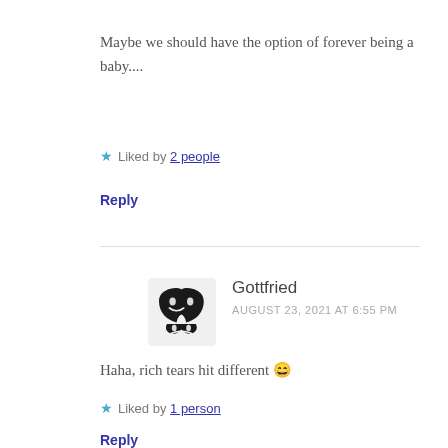Maybe we should have the option of forever being a baby....
★ Liked by 2 people
Reply
Gottfried
AUGUST 23, 2021 AT 6:55 PM
Haha, rich tears hit different 😅
★ Liked by 1 person
Reply